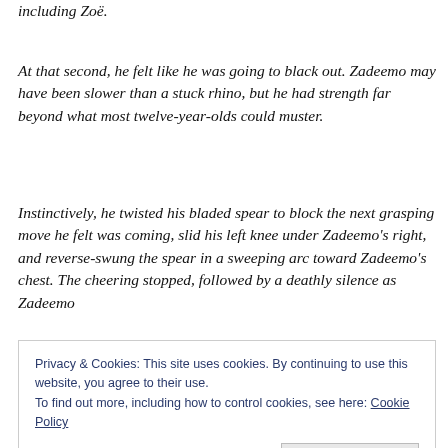including Zoë.
At that second, he felt like he was going to black out. Zadeemo may have been slower than a stuck rhino, but he had strength far beyond what most twelve-year-olds could muster.
Instinctively, he twisted his bladed spear to block the next grasping move he felt was coming, slid his left knee under Zadeemo's right, and reverse-swung the spear in a sweeping arc toward Zadeemo's chest. The cheering stopped, followed by a deathly silence as Zadeemo
Privacy & Cookies: This site uses cookies. By continuing to use this website, you agree to their use.
To find out more, including how to control cookies, see here: Cookie Policy
Close and accept